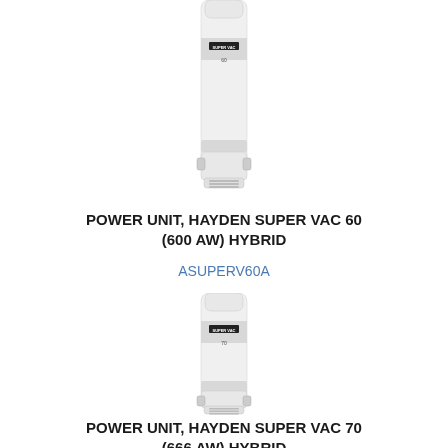[Figure (photo): Central vacuum power unit - Hayden Super Vac 60, white cylindrical unit, partially cropped at top of page]
POWER UNIT, HAYDEN SUPER VAC 60 (600 AW) HYBRID
ASUPERV60A
[Figure (photo): Central vacuum power unit - Hayden Super Vac 70, white cylindrical unit]
POWER UNIT, HAYDEN SUPER VAC 70 (666 AW) HYBRID